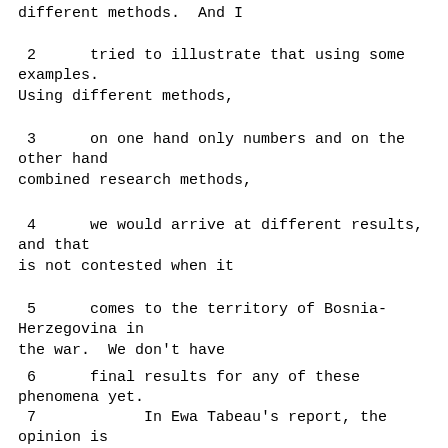different methods.  And I
2      tried to illustrate that using some examples.
Using different methods,
3      on one hand only numbers and on the other hand
combined research methods,
4      we would arrive at different results, and that
is not contested when it
5      comes to the territory of Bosnia-Herzegovina in
the war.  We don't have
6      final results for any of these phenomena yet.
7            In Ewa Tabeau's report, the opinion is
upheld that the estimated